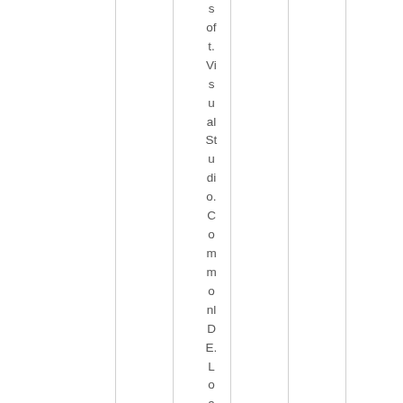s of t. Visual Studio. CommonlDE. Load